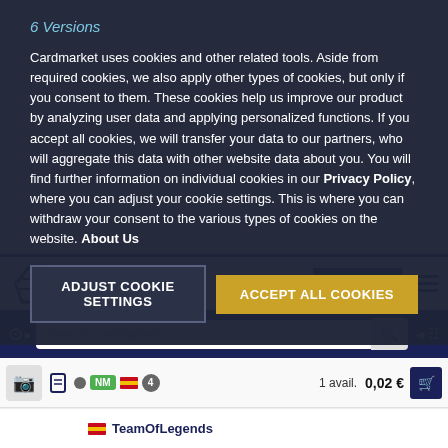Cardmarket uses cookies and other related tools. Aside from required cookies, we also apply other types of cookies, but only if you consent to them. These cookies help us improve our product by analyzing user data and applying personalized functions. If you accept all cookies, we will transfer your data to our partners, who will aggregate this data with other website data about you. You will find further information on individual cookies in our Privacy Policy, where you can adjust your cookie settings. This is where you can withdraw your consent to the various types of cookies on the website. About Us
ADJUST COOKIE SETTINGS
ACCEPT ALL COOKIES
SIGN UP
Search Cardmarket...
1 avail.   0,02 €
TeamOfLegends